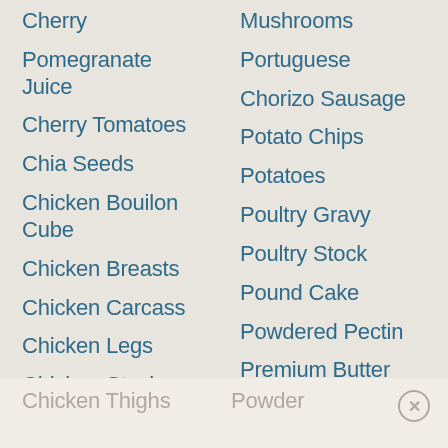Mushrooms
Cherry
Portuguese
Pomegranate Juice
Chorizo Sausage
Cherry Tomatoes
Potato Chips
Chia Seeds
Potatoes
Chicken Bouilon Cube
Poultry Gravy
Poultry Stock
Chicken Breasts
Pound Cake
Chicken Carcass
Powdered Pectin
Chicken Legs
Premium Butter
Chicken Stock
Premium Cocoa Powder
Chicken Thighs (faded)